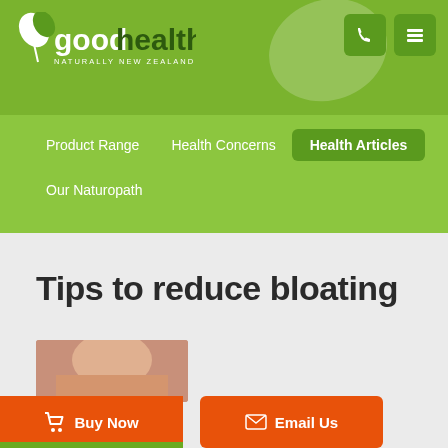[Figure (logo): Good Health Naturally New Zealand logo with leaf icon on green header background]
goodhealth NATURALLY NEW ZEALAND
Product Range   Health Concerns   Health Articles   Our Naturopath
Tips to reduce bloating
[Figure (photo): Partial photo of a person's face/stomach area related to bloating article]
Buy Now
Email Us